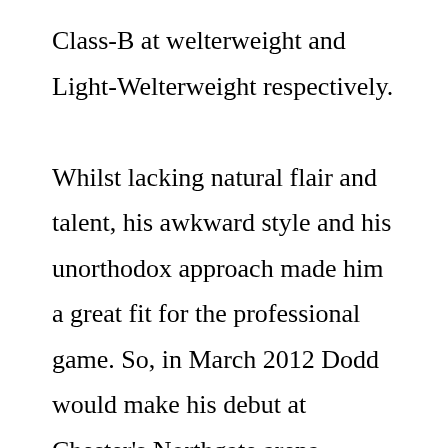Class-B at welterweight and Light-Welterweight respectively.

Whilst lacking natural flair and talent, his awkward style and his unorthodox approach made him a great fit for the professional game. So, in March 2012 Dodd would make his debut at Chester's Northgate arena against Guiseppe Daprato. Hundreds of Masher's friends, family and clubmates followed him in droves as he soon started to have a cult following.